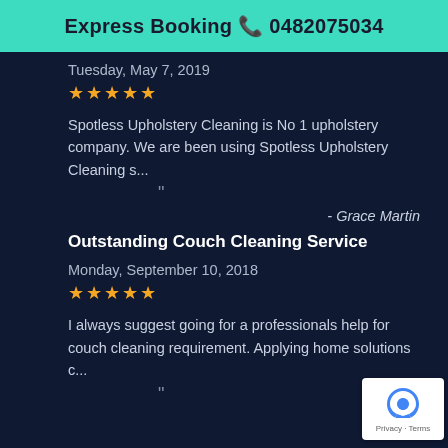Express Booking 📞 0482075034
Tuesday, May 7, 2019
[Figure (other): Five gold star rating]
Spotless Upholstery Cleaning is No 1 upholstery company. We are been using Spotless Upholstery Cleaning s...
- Grace Martin
Outstanding Couch Cleaning Service
Monday, September 10, 2018
[Figure (other): Five gold star rating]
I always suggest going for a professionals help for couch cleaning requirement. Applying home solutions c...
- Ben